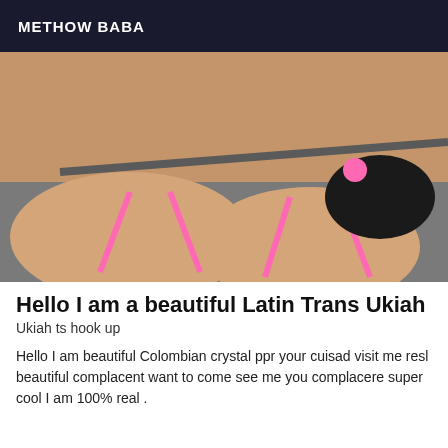METHOW BABA
[Figure (photo): Photo of person(s) in swimwear/lingerie, taken in a mirror reflection setting with pink bikini visible]
Hello I am a beautiful Latin Trans Ukiah
Ukiah ts hook up
Hello I am beautiful Colombian crystal ppr your cuisad visit me resl beautiful complacent want to come see me you complacere super cool I am 100% real .